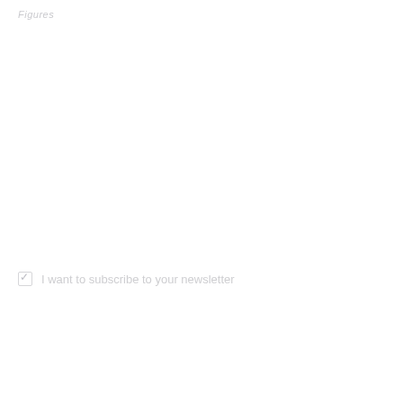Figures
☑ I want to subscribe to your newsletter